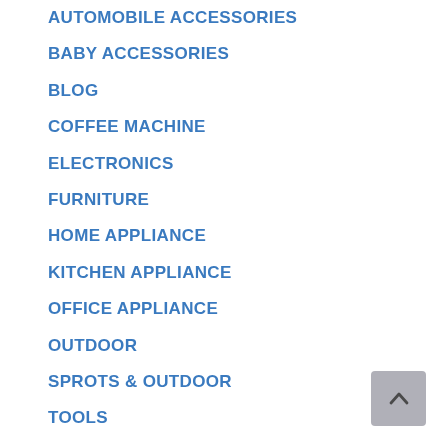AUTOMOBILE ACCESSORIES
BABY ACCESSORIES
BLOG
COFFEE MACHINE
ELECTRONICS
FURNITURE
HOME APPLIANCE
KITCHEN APPLIANCE
OFFICE APPLIANCE
OUTDOOR
SPROTS & OUTDOOR
TOOLS
Uncategorized